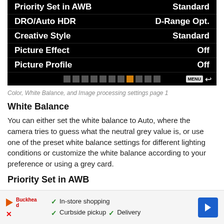[Figure (screenshot): Camera menu screen showing Color, White Balance, and Image processing settings page 1. Menu rows: Priority Set in AWB / Standard, DRO/Auto HDR / D-Range Opt., Creative Style / Standard, Picture Effect / Off, Picture Profile / Off. Navigation dots at bottom with one active orange dot, MNU button and back arrow.]
Color, White Balance, and Image processing settings page 1
White Balance
You can either set the white balance to Auto, where the camera tries to guess what the neutral grey value is, or use one of the preset white balance settings for different lighting conditions or customize the white balance according to your preference or using a grey card.
Priority Set in AWB
Selects which tone to prioritize when shooting under lighting
[Figure (other): Advertisement banner for a store with in-store shopping, curbside pickup, and delivery options. Shows a play button logo, store name, checkmarks, and a blue navigation arrow.]